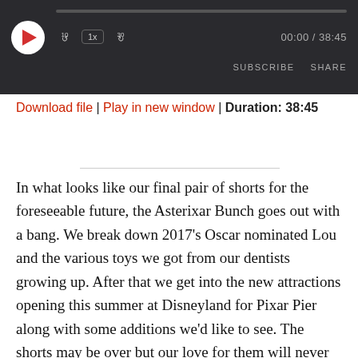[Figure (screenshot): Audio player widget with dark background showing play button, progress bar, skip back 10s button, 1x speed button, skip forward 30s button, time display 00:00 / 38:45, and SUBSCRIBE and SHARE buttons]
Download file | Play in new window | Duration: 38:45
In what looks like our final pair of shorts for the foreseeable future, the Asterixar Bunch goes out with a bang. We break down 2017’s Oscar nominated Lou and the various toys we got from our dentists growing up. After that we get into the new attractions opening this summer at Disneyland for Pixar Pier along with some additions we’d like to see. The shorts may be over but our love for them will never die!